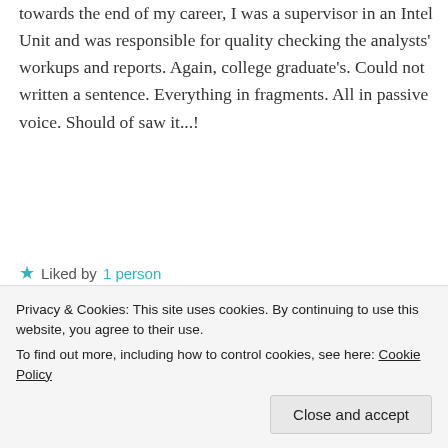Towards the end of my career, I was a supervisor in an Intel Unit and was responsible for quality checking the analysts' workups and reports. Again, college graduate's. Could not written a sentence. Everything in fragments. All in passive voice. Should of saw it...!
★ Liked by 1 person
REPLY
[Figure (photo): Small circular avatar photo of a person, partially visible]
Privacy & Cookies: This site uses cookies. By continuing to use this website, you agree to their use. To find out more, including how to control cookies, see here: Cookie Policy
Close and accept